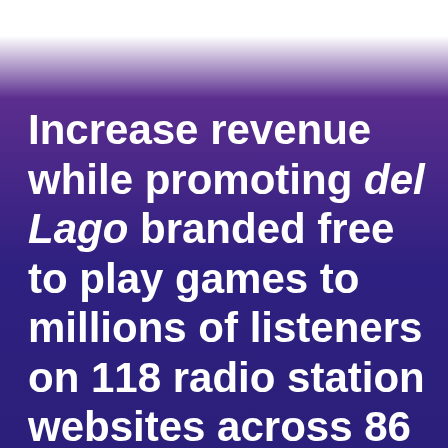Increase revenue while promoting del Lago branded free to play games to millions of listeners on 118 radio station websites across 86 US markets with national and local activation.